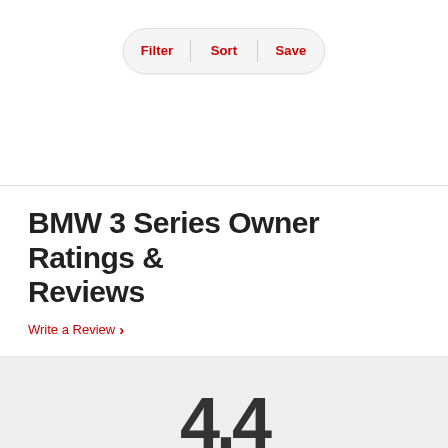Filter | Sort | Save
BMW 3 Series Owner Ratings & Reviews
Write a Review >
4.4